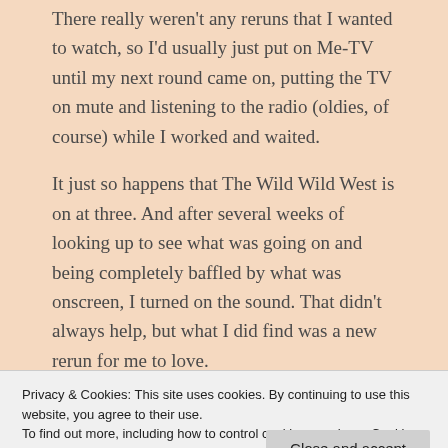There really weren't any reruns that I wanted to watch, so I'd usually just put on Me-TV until my next round came on, putting the TV on mute and listening to the radio (oldies, of course) while I worked and waited.
It just so happens that The Wild Wild West is on at three. And after several weeks of looking up to see what was going on and being completely baffled by what was onscreen, I turned on the sound. That didn't always help, but what I did find was a new rerun for me to love.
Privacy & Cookies: This site uses cookies. By continuing to use this website, you agree to their use.
To find out more, including how to control cookies, see here: Cookie Policy
[Figure (photo): Bottom strip showing a dark background with bold text partially visible, resembling a TV show title card or banner image.]